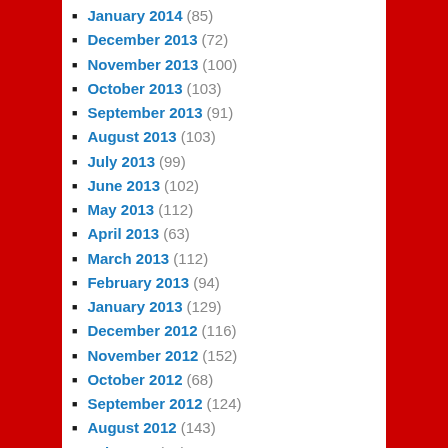January 2014 (85)
December 2013 (72)
November 2013 (100)
October 2013 (103)
September 2013 (91)
August 2013 (103)
July 2013 (99)
June 2013 (102)
May 2013 (112)
April 2013 (63)
March 2013 (112)
February 2013 (94)
January 2013 (129)
December 2012 (116)
November 2012 (152)
October 2012 (68)
September 2012 (124)
August 2012 (143)
July 2012 (61)
June 2012 (121)
May 2012 (129)
April 2012 (88)